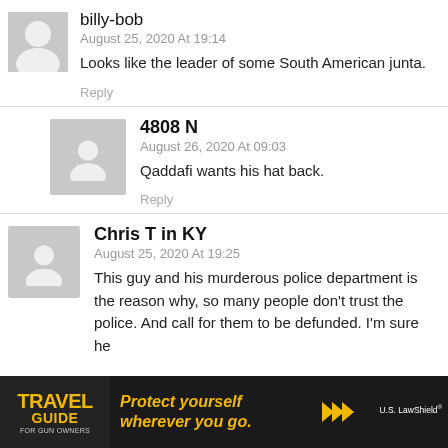billy-bob
August 25, 2020 At 19:14
Looks like the leader of some South American junta.
Reply
4808 N
August 26, 2020 At 09:03
Qaddafi wants his hat back.
Reply
Chris T in KY
August 25, 2020 At 19:25
This guy and his murderous police department is the reason why, so many people don’t trust the police. And call for them to be defunded. I’m sure he
[Figure (infographic): Advertisement banner: Travel Guide for Gun Owners / Protect yourself wherever you go. / U.S. LawShield]